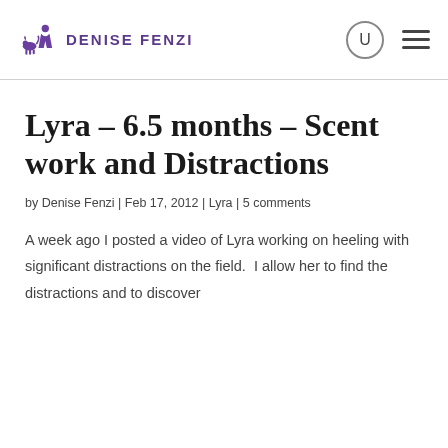Denise Fenzi
Lyra – 6.5 months – Scent work and Distractions
by Denise Fenzi | Feb 17, 2012 | Lyra | 5 comments
A week ago I posted a video of Lyra working on heeling with significant distractions on the field.  I allow her to find the distractions and to discover